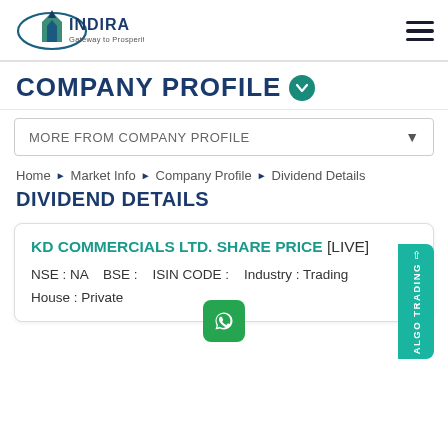[Figure (logo): Indira Securities logo with arrow and 'Gateway to Prosperity' tagline]
COMPANY PROFILE
MORE FROM COMPANY PROFILE
Home › Market Info › Company Profile › Dividend Details
DIVIDEND DETAILS
KD COMMERCIALS LTD. SHARE PRICE [LIVE]
NSE : NA   BSE :   ISIN CODE :   Industry : Trading
House : Private